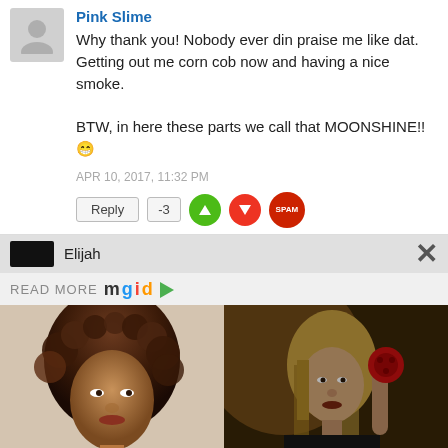Pink Slime
Why thank you! Nobody ever din praise me like dat. Getting out me corn cob now and having a nice smoke.

BTW, in here these parts we call that MOONSHINE!! 😁
APR 10, 2017, 11:32 PM
Reply | -3
Elijah
READ MORE mgid ▶
[Figure (photo): Photo of a Black woman with curly hair]
7 African Actresses With Thick Skin Who Got Famous In Hollywood
[Figure (photo): Photo of a woman with long hair holding a red object]
9 Terrifying Recent-ish Horror Flicks That Are Truly Must-sees